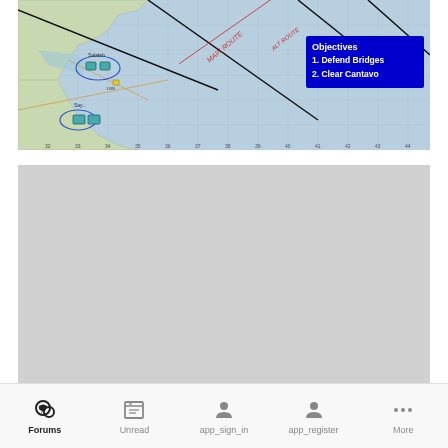[Figure (map): Military tactical map showing coastal terrain with objectives overlay. Blue box in upper right shows 'Objectives 1. Defend Bridges 2. Clear Cantavo'. Map shows coastline, water bodies, grid lines, and tactical unit markers.]
[Figure (other): Gray placeholder rectangle, likely a loading or empty content area below the map.]
Forums  Unread  app_sign_in  app_register  More